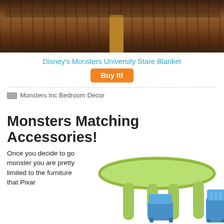[Figure (photo): Partial view of a dark wood-toned floor with a wooden furniture leg, top of page]
Disney's Monsters University Stare Blanket
Buy It!
Monsters Inc Bedroom Decor
Monsters Matching Accessories!
Once you decide to go monster you are pretty limited to the furniture that Pixar
[Figure (photo): Green children's plastic table with blue children's chairs, partial view]